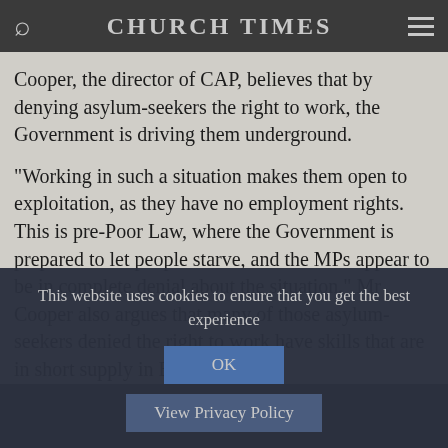CHURCH TIMES
Cooper, the director of CAP, believes that by denying asylum-seekers the right to work, the Government is driving them underground.
"Working in such a situation makes them open to exploitation, as they have no employment rights. This is pre-Poor Law, where the Government is prepared to let people starve, and the MPs appear to be in complete denial about the situation." Mr Cooper also argues that many of those asylum-seekers denied the right to work have skills that are in short supply in Britain.
This website uses cookies to ensure that you get the best experience
OK
View Privacy Policy